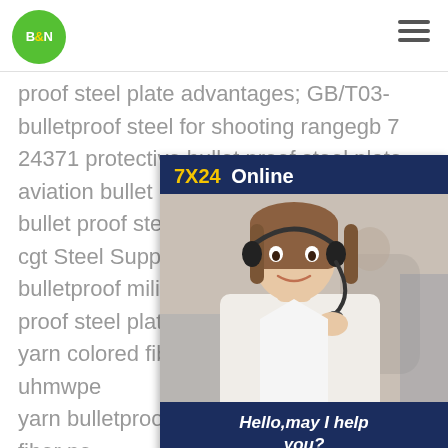[Figure (logo): B&N logo — green circle with white bold text]
[Figure (other): Hamburger menu icon — three horizontal lines]
proof steel plate advantages; GB/T03... bulletproof steel for shooting rangegb 7... 24371 protective bullet proof steel plate... aviation bullet proof steel plate 24371 p... bullet proof steel plate horizontal tank p... cgt Steel Supplierwholesale black polic... bulletproof military tactical ve; which fd... proof steel plate is more professional; d... yarn colored fiber tyz tm30 800d green; uhmwpe yarn bulletproof ud fabric; safety gloves fiber pe safety gloves yarn supplier; gb 709 2006 mil dtl 46063 bullet proof steel plate for shooting range seller
[Figure (infographic): 7X24 Online chat widget with customer service agent photo, text 'Hello,may I help you?' and 'Get Latest Price' button]